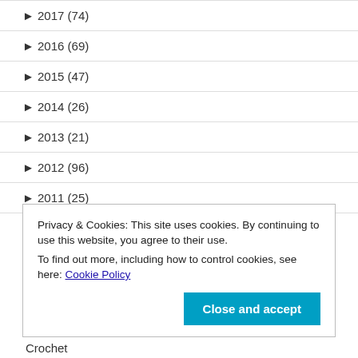► 2017 (74)
► 2016 (69)
► 2015 (47)
► 2014 (26)
► 2013 (21)
► 2012 (96)
► 2011 (25)
Privacy & Cookies: This site uses cookies. By continuing to use this website, you agree to their use.
To find out more, including how to control cookies, see here: Cookie Policy
Crochet